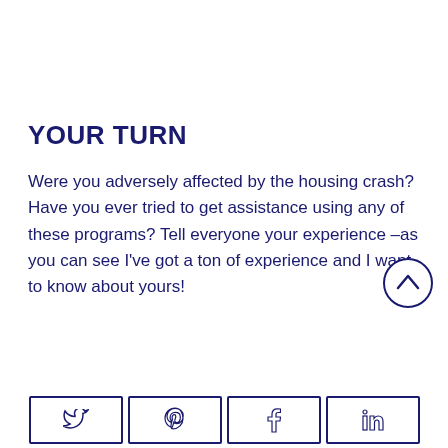YOUR TURN
Were you adversely affected by the housing crash? Have you ever tried to get assistance using any of these programs? Tell everyone your experience –as you can see I've got a ton of experience and I want to know about yours!
[Figure (other): Four social sharing buttons at the bottom: Twitter (bird icon), Pinterest (P icon), Facebook (f icon), LinkedIn (in icon), each inside a bordered rectangle]
[Figure (other): Scroll-to-top circular button with upward chevron arrow, overlapping the body text in the upper-right area]